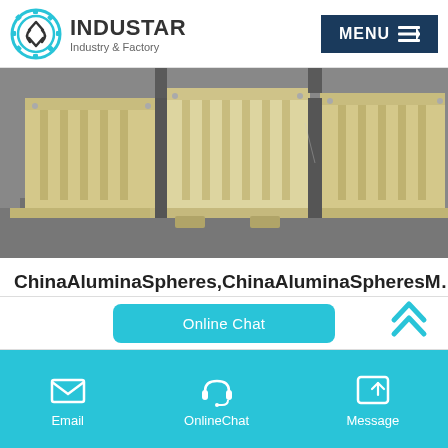INDUSTAR Industry & Factory
[Figure (photo): Industrial crushing/screening machinery — large beige/cream colored machines on a concrete floor]
ChinaAluminaSpheres,ChinaAluminaSpheresM…
Alibaba.com offers 406 aluminaspheresproducts. A wide variety of aluminaspheresoptions are available to you, There are 406 aluminaspheressuppliers, mainly located in Asia. The top supplying country or region isChina, which supply 100% of…
Email   OnlineChat   Message